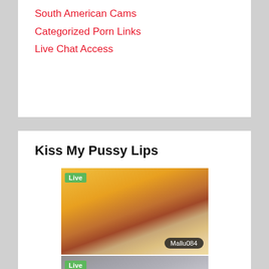South American Cams
Categorized Porn Links
Live Chat Access
Kiss My Pussy Lips
[Figure (photo): Live webcam thumbnail showing a woman in a yellow floral dress, with 'Live' badge in green and username label 'Mallu084' in dark pill at bottom right]
[Figure (photo): Live webcam thumbnail showing a woman in a grey shirt reclining, with 'Live' badge in green at top left]